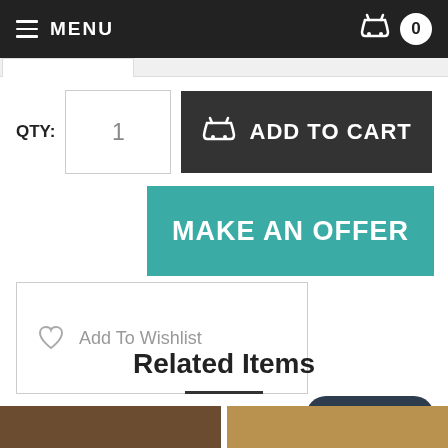MENU | Cart 0
QTY: 1
ADD TO CART
MAKE AN OFFER
Add To Wishlist
Related Items
Chat with us
[Figure (photo): Two product thumbnail images at bottom of page]